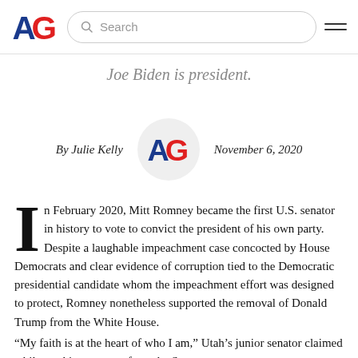AG [logo] Search [hamburger menu]
Joe Biden is president.
By Julie Kelly   November 6, 2020
[Figure (logo): American Greatness AG logo in circle]
In February 2020, Mitt Romney became the first U.S. senator in history to vote to convict the president of his own party. Despite a laughable impeachment case concocted by House Democrats and clear evidence of corruption tied to the Democratic presidential candidate whom the impeachment effort was designed to protect, Romney nonetheless supported the removal of Donald Trump from the White House.
“My faith is at the heart of who I am,” Utah’s junior senator claimed while working up tears from the Senate